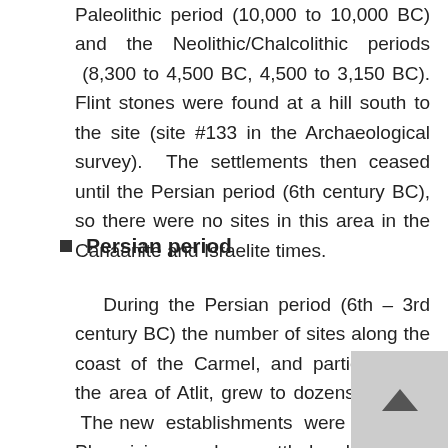Paleolithic period (10,000 to 10,000 BC) and the Neolithic/Chalcolithic periods (8,300 to 4,500 BC, 4,500 to 3,150 BC). Flint stones were found at a hill south to the site (site #133 in the Archaeological survey). The settlements then ceased until the Persian period (6th century BC), so there were no sites in this area in the Canaanite and Israelite times.
Persian period
During the Persian period (6th – 3rd century BC) the number of sites along the coast of the Carmel, and particularly in the area of Atlit, grew to dozens of sites. The new establishments were probably Phoenicians who settled along the coast. The Phoenicians were the maritime merchants of the ancient world, and used the natural bays and the nearby rivers in order to establish ports along the shores of the holy Land – stretching from Tyre down